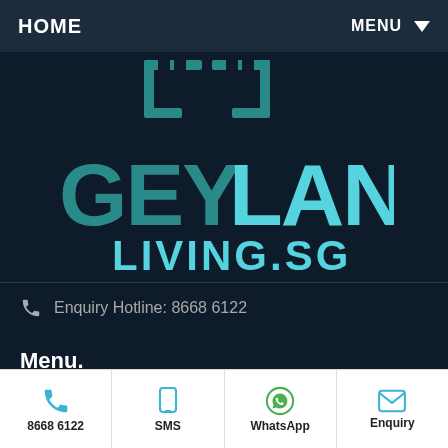HOME    MENU ▼
[Figure (logo): Geylang Living SG logo with teal/cyan text on dark navy background. Top portion shows a stylized bracket/square icon in teal. Large bold text: GEY in dark teal, LANG in light cyan. Below: LIVING.SG in light cyan medium weight.]
Enquiry Hotline: 8668 6122
Menu.
News.
8668 6122    SMS    WhatsApp    Enquiry